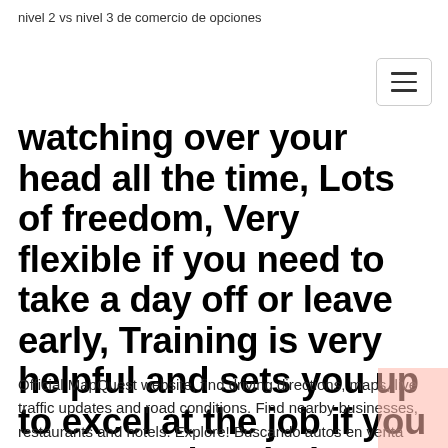nivel 2 vs nivel 3 de comercio de opciones
watching over your head all the time, Lots of freedom, Very flexible if you need to take a day off or leave early, Training is very helpful and sets you up to excel at the job if you pay attention during training sessions, Sales Director helps you with any and everything you need.
Official MapQuest website, find driving directions, maps, live traffic updates and road conditions. Find nearby businesses, restaurants and hotels. Explore! Buscando autos en venta